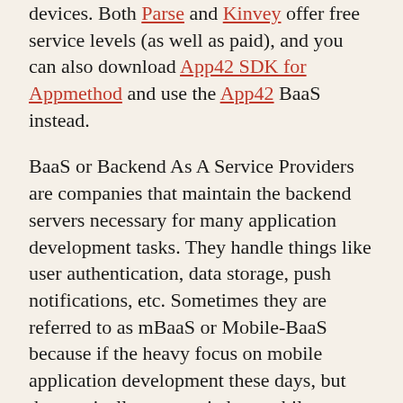devices. Both Parse and Kinvey offer free service levels (as well as paid), and you can also download App42 SDK for Appmethod and use the App42 BaaS instead.
BaaS or Backend As A Service Providers are companies that maintain the backend servers necessary for many application development tasks. They handle things like user authentication, data storage, push notifications, etc. Sometimes they are referred to as mBaaS or Mobile-BaaS because if the heavy focus on mobile application development these days, but they typically are not tied to mobile.
This doesn't mean you have to use a BaaS provider to send mobile push notifications. This is just the easy way. During CodeRage we've had sessions on how to do push notifications without a BaaS provider. It is different for both iOS and Android, so you are looking at a lot more code and effort, but it is possible.